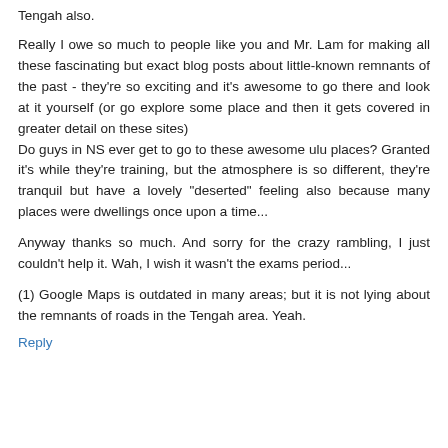Tengah also.
Really I owe so much to people like you and Mr. Lam for making all these fascinating but exact blog posts about little-known remnants of the past - they're so exciting and it's awesome to go there and look at it yourself (or go explore some place and then it gets covered in greater detail on these sites)
Do guys in NS ever get to go to these awesome ulu places? Granted it's while they're training, but the atmosphere is so different, they're tranquil but have a lovely "deserted" feeling also because many places were dwellings once upon a time...
Anyway thanks so much. And sorry for the crazy rambling, I just couldn't help it. Wah, I wish it wasn't the exams period...
(1) Google Maps is outdated in many areas; but it is not lying about the remnants of roads in the Tengah area. Yeah.
Reply